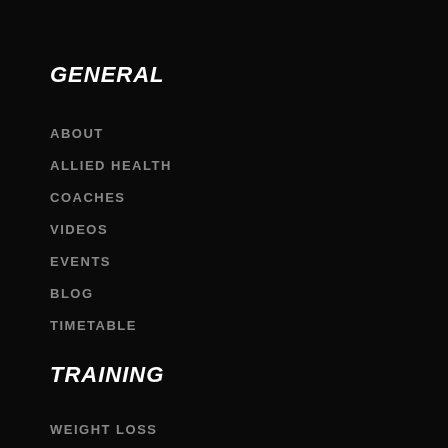GENERAL
ABOUT
ALLIED HEALTH
COACHES
VIDEOS
EVENTS
BLOG
TIMETABLE
TRAINING
WEIGHT LOSS